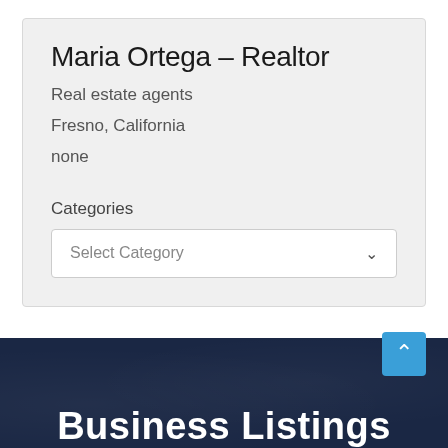Maria Ortega – Realtor
Real estate agents
Fresno, California
none
Categories
Select Category
Business Listings